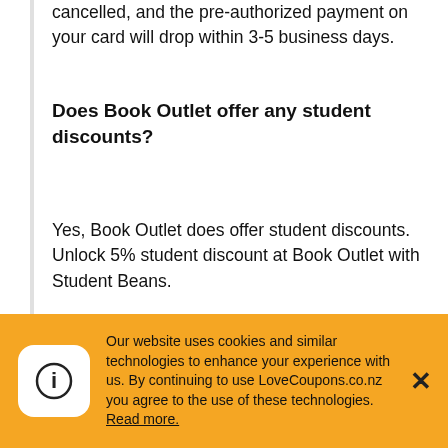cancelled, and the pre-authorized payment on your card will drop within 3-5 business days.
Does Book Outlet offer any student discounts?
Yes, Book Outlet does offer student discounts. Unlock 5% student discount at Book Outlet with Student Beans.
How do I redeem Book Outlet's Coupon Code?
To redeem Book Outlet's Coupon Code all you need to do is scroll up to the list of offers and click on Get Coupon. This will generate a code for you to use as well as take you to Book
Our website uses cookies and similar technologies to enhance your experience with us. By continuing to use LoveCoupons.co.nz you agree to the use of these technologies. Read more.